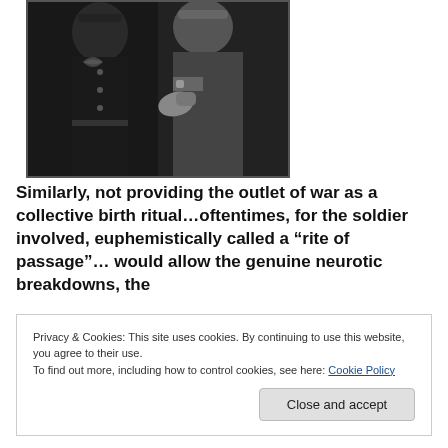[Figure (photo): Black and white photograph showing two figures in military uniforms, one wearing a Nazi armband with a swastika symbol visible]
Similarly, not providing the outlet of war as a collective birth ritual…oftentimes, for the soldier involved, euphemistically called a “rite of passage”… would allow the genuine neurotic breakdowns, the
Privacy & Cookies: This site uses cookies. By continuing to use this website, you agree to their use.
To find out more, including how to control cookies, see here: Cookie Policy